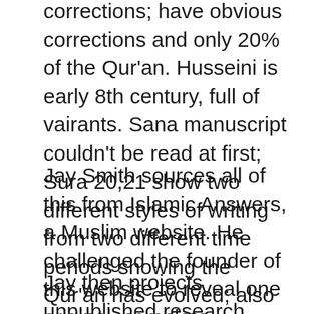corrections; have obvious corrections and only 20% of the Qur'an. Husseini is early 8th century, full of vairants. Sana manuscript couldn't be read at first; Sura 20,21 show two different styles of writing from two different time periods showing the Qur'an has evolved; also contains manuscript variants (1000 just in this Quran); they could actually see another version underneath.
Jay Smith sources all of this from Islamic Answers, a Muslim website. He challenged the founder of this website to reveal one original, complete manuscript and the founder walked away.
Jay then projects unpublished research which revealed over 800 textual variants. Since this has not yet been published yet, notes will not be